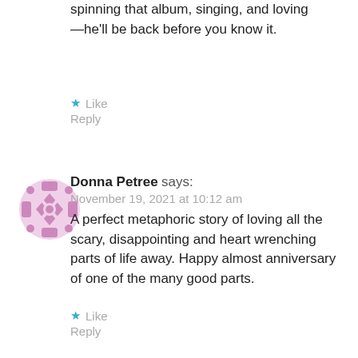spinning that album, singing, and loving—he'll be back before you know it.
★ Like
Reply
[Figure (illustration): Pink decorative avatar icon with geometric floral/diamond pattern]
Donna Petree says:
November 19, 2021 at 10:12 am
A perfect metaphoric story of loving all the scary, disappointing and heart wrenching parts of life away. Happy almost anniversary of one of the many good parts.
★ Like
Reply